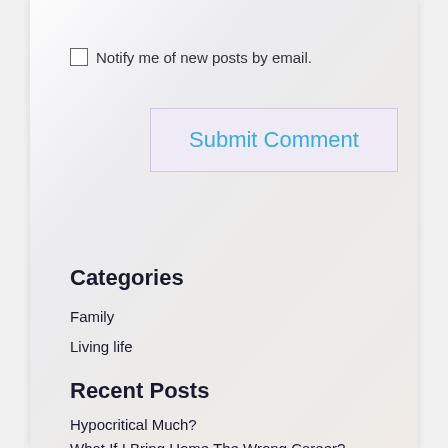Notify me of new posts by email.
[Figure (illustration): Button labeled Submit Comment with light purple/lavender background and blue text, overlaid on a faint background photo of a smiling blonde woman]
Categories
Family
Living life
Recent Posts
Hypocritical Much?
What If I Bring Home The Wrong Career?